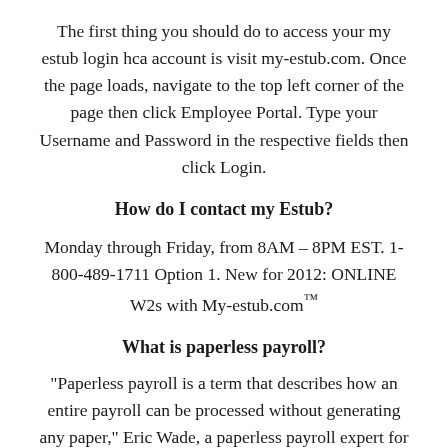The first thing you should do to access your my estub login hca account is visit my-estub.com. Once the page loads, navigate to the top left corner of the page then click Employee Portal. Type your Username and Password in the respective fields then click Login.
How do I contact my Estub?
Monday through Friday, from 8AM – 8PM EST. 1-800-489-1711 Option 1. New for 2012: ONLINE W2s with My-estub.com™
What is paperless payroll?
"Paperless payroll is a term that describes how an entire payroll can be processed without generating any paper," Eric Wade, a paperless payroll expert for payroll system provider Payshex, told Business News Daily.